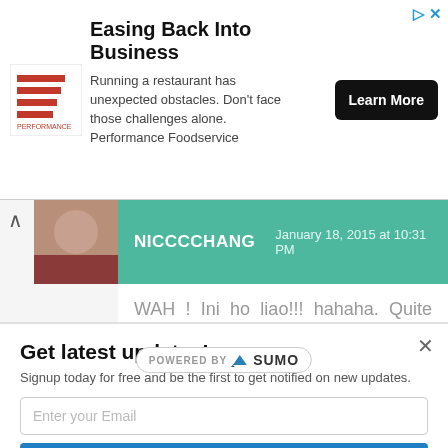[Figure (screenshot): Advertisement banner for Performance Foodservice - Easing Back Into Business]
NICCCCHANG   January 18, 2015 at 10:31 PM
WAH ! Ini ho liao!!! hahaha. Quite affordable also le! :) will try it out one day!
Read on my latest blog post: Don't
[Figure (logo): Powered by Sumo badge]
Get latest updates!
Signup today for free and be the first to get notified on new updates.
Enter your Email
Subscribe Now